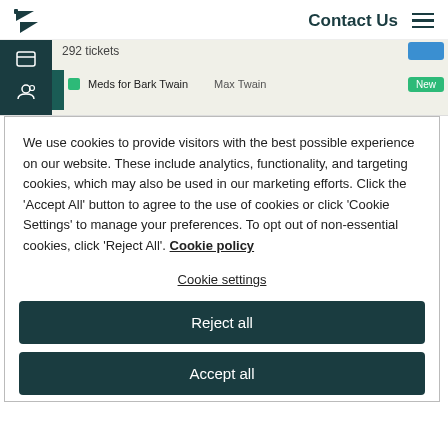Contact Us
[Figure (screenshot): Zendesk support ticket interface showing '292 tickets' and a ticket row 'Meds for Bark Twain' assigned to Max Twain with 'New' status badge]
We use cookies to provide visitors with the best possible experience on our website. These include analytics, functionality, and targeting cookies, which may also be used in our marketing efforts. Click the 'Accept All' button to agree to the use of cookies or click 'Cookie Settings' to manage your preferences. To opt out of non-essential cookies, click 'Reject All'. Cookie policy
Cookie settings
Reject all
Accept all